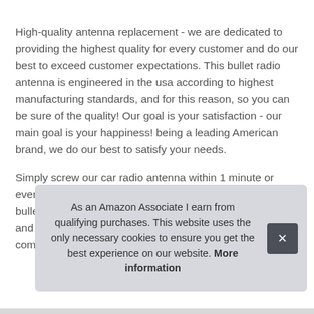High-quality antenna replacement - we are dedicated to providing the highest quality for every customer and do our best to exceed customer expectations. This bullet radio antenna is engineered in the usa according to highest manufacturing standards, and for this reason, so you can be sure of the quality! Our goal is your satisfaction - our main goal is your happiness! being a leading American brand, we do our best to satisfy your needs.
Simply screw our car radio antenna within 1 minute or even less! Stylish solution for your vehicle - the 30 caliber bullet style car antenna replacement allows car washes and all-season use without worries. But if you aren't completely deli[ghted with your purchase, we'll make it right - your wind[...]
As an Amazon Associate I earn from qualifying purchases. This website uses the only necessary cookies to ensure you get the best experience on our website. More information